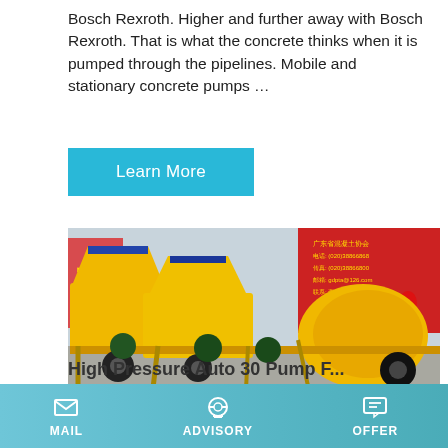Bosch Rexroth. Higher and further away with Bosch Rexroth. That is what the concrete thinks when it is pumped through the pipelines. Mobile and stationary concrete pumps …
Learn More
[Figure (photo): Yellow concrete mixer pump machines lined up in a factory yard with a red banner in the background showing Chinese text, with green motors visible]
High Pressure Auto 30 Pump F...
MAIL   ADVISORY   OFFER